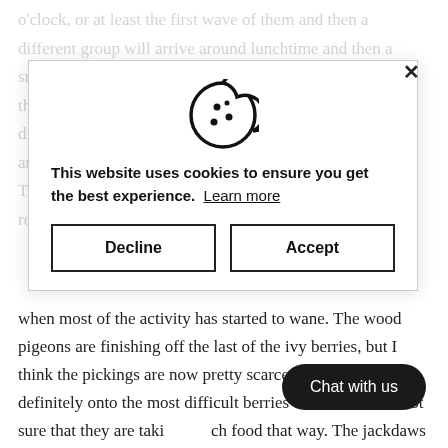o'clock, or at least the first wave of them and then a different group will arrive around lunchtime and then a smaller group will appear at 3 o'clock. Although I'm sure there's some overlap in the groups, there are a some differences in the birds, as I've mentioned before, so there are different birds at different times. The blackbirds certainly around early to late as the rooks and the collared doves tend to come in pairs when most of the activity has started to wane. The wood pigeons are finishing off the last of the ivy berries, but I think the pickings are now pretty scarce and they are definitely onto the most difficult berries to reach, so I'm not sure that they are taking much food that way. The jackdaws have been coming generally as a group of four, but I've noticed that with the current group, they have been tending to eat on the
[Figure (screenshot): Cookie consent modal with cookie icon at top, message 'This website uses cookies to ensure you get the best experience. Learn more', and two buttons: Decline and Accept. A close (x) button appears top right. A 'Chat with us' pill button appears bottom right.]